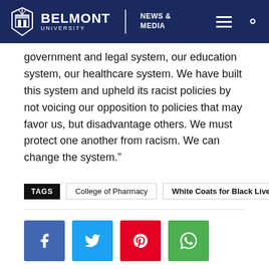BELMONT UNIVERSITY — NEWS & MEDIA
government and legal system, our education system, our healthcare system. We have built this system and upheld its racist policies by not voicing our opposition to policies that may favor us, but disadvantage others. We must protect one another from racism. We can change the system.”
TAGS  College of Pharmacy  White Coats for Black Lives
[Figure (other): Social sharing buttons: Facebook (blue), Twitter (cyan), Pinterest (red), WhatsApp (green)]
Previous article   Next article